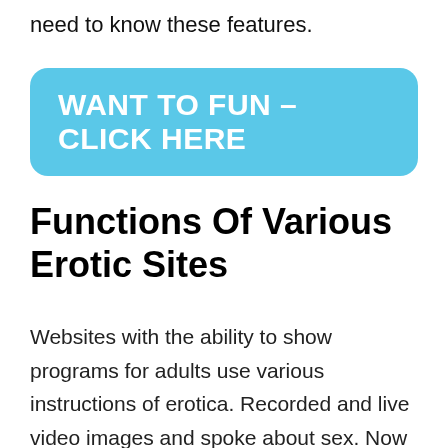need to know these features.
[Figure (other): Cyan/light blue rounded rectangle button with white bold text reading 'WANT TO FUN – CLICK HERE']
Functions Of Various Erotic Sites
Websites with the ability to show programs for adults use various instructions of erotica. Recorded and live video images and spoke about sex. Now an unique location is inhabited by websites with the capability to relay sensual shows in real-